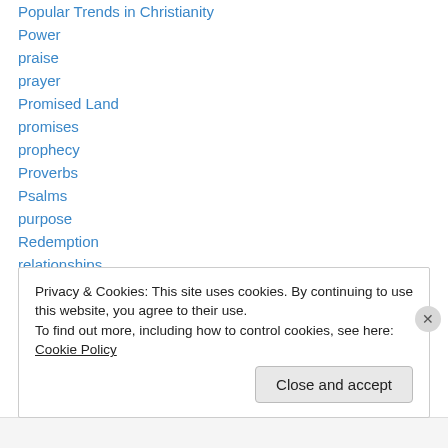Popular Trends in Christianity
Power
praise
prayer
Promised Land
promises
prophecy
Proverbs
Psalms
purpose
Redemption
relationships
repentance
Privacy & Cookies: This site uses cookies. By continuing to use this website, you agree to their use.
To find out more, including how to control cookies, see here: Cookie Policy
Close and accept